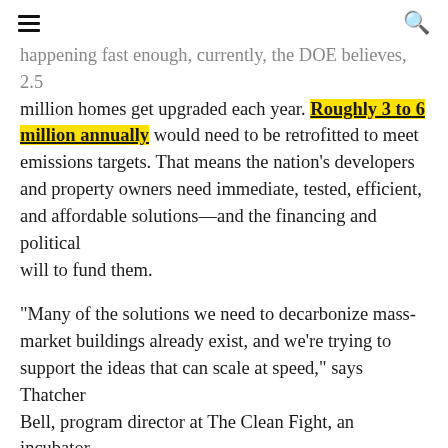[hamburger menu icon] [search icon]
happening fast enough, currently, the DOE believes, 2.5 million homes get upgraded each year. Roughly 3 to 6 million annually would need to be retrofitted to meet emissions targets. That means the nation's developers and property owners need immediate, tested, efficient, and affordable solutions—and the financing and political will to fund them.
"Many of the solutions we need to decarbonize mass-market buildings already exist, and we're trying to support the ideas that can scale at speed," says Thatcher Bell, program director at The Clean Fight, an incubator for clean-energy startups that focuses on moresustainable housing solutions. "Innovation is difficult, but adoption is more difficult."